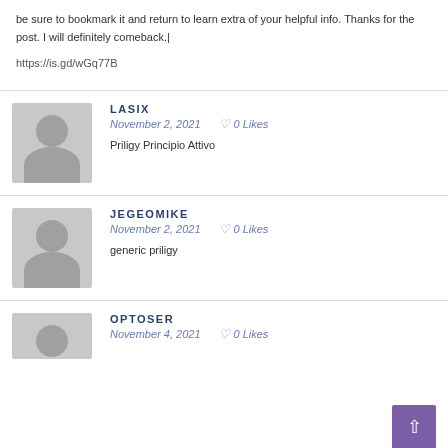be sure to bookmark it and return to learn extra of your helpful info. Thanks for the post. I will definitely comeback.|
https://is.gd/wGq77B
LASIX
November 2, 2021   ♡ 0 Likes
Priligy Principio Attivo
JEGEOMIKE
November 2, 2021   ♡ 0 Likes
generic priligy
OPTOSER
November 4, 2021   ♡ 0 Likes